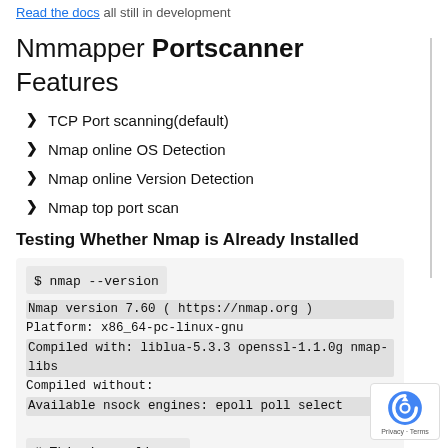Read the docs all still in development
Nmmapper Portscanner Features
TCP Port scanning(default)
Nmap online OS Detection
Nmap online Version Detection
Nmap top port scan
Testing Whether Nmap is Already Installed
$ nmap --version
Nmap version 7.60 ( https://nmap.org )
Platform: x86_64-pc-linux-gnu
Compiled with: liblua-5.3.3 openssl-1.1.0g nmap-libs
Compiled without:
Available nsock engines: epoll poll select
# This is on linux.
Options Summary
This options summary is printed when Nmap is run with no arguments, and